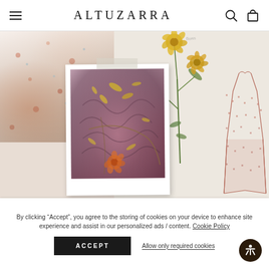ALTUZARRA
[Figure (photo): Fashion brand website hero section showing a collage: floral dress fabric on the left, a polaroid-style photo of pink fabric bundles with yellow flower petals in the center, botanical pressed flower illustration on the right, and a fashion sketch on far right]
By clicking “Accept”, you agree to the storing of cookies on your device to enhance site experience and assist in our personalized ads / content. Cookie Policy
ACCEPT
Allow only required cookies